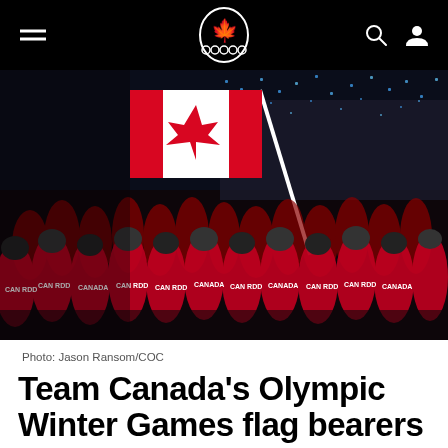Team Canada Olympic logo navigation bar with hamburger menu, search icon, and user icon
[Figure (photo): Canadian Olympic team athletes in red Canada uniforms marching at Olympic Winter Games opening ceremony, with a flag bearer holding the large Canadian flag (red and white maple leaf) on a pole, crowd of athletes behind, dark stadium background with blue lights]
Photo: Jason Ransom/COC
Team Canada's Olympic Winter Games flag bearers